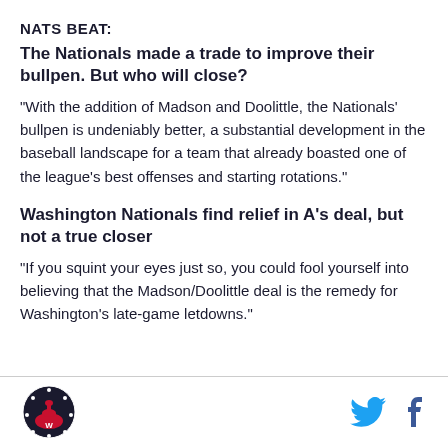NATS BEAT:
The Nationals made a trade to improve their bullpen. But who will close?
"With the addition of Madson and Doolittle, the Nationals' bullpen is undeniably better, a substantial development in the baseball landscape for a team that already boasted one of the league’s best offenses and starting rotations."
Washington Nationals find relief in A's deal, but not a true closer
"If you squint your eyes just so, you could fool yourself into believing that the Madson/Doolittle deal is the remedy for Washington's late-game letdowns."
[Figure (logo): Washington Nationals circular logo with Capitol building and stars]
[Figure (logo): Twitter bird icon in blue]
[Figure (logo): Facebook 'f' icon in dark blue]